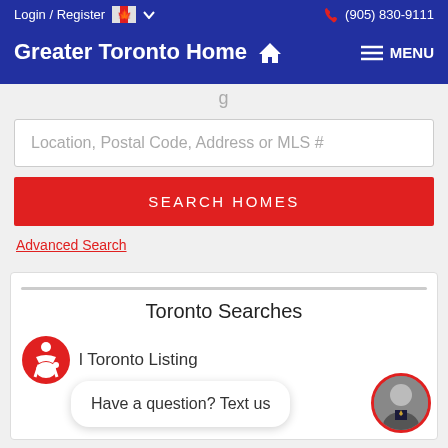Login / Register  (905) 830-9111
Greater Toronto Home
Location, Postal Code, Address or MLS #
SEARCH HOMES
Advanced Search
Toronto Searches
Have a question? Text us
l Toronto Listing